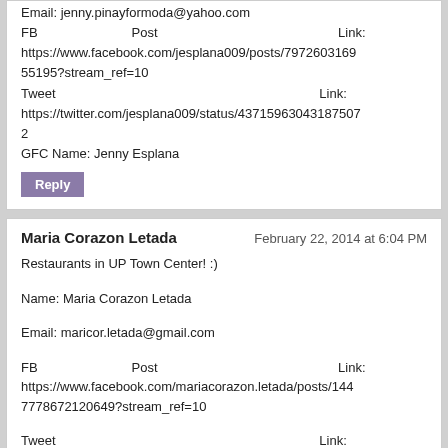Email: jenny.pinayformoda@yahoo.com
FB Post Link: https://www.facebook.com/jesplana009/posts/797260316955195?stream_ref=10
Tweet Link: https://twitter.com/jesplana009/status/437159630431875072
GFC Name: Jenny Esplana
Reply
Maria Corazon Letada   February 22, 2014 at 6:04 PM
Restaurants in UP Town Center! :)
Name: Maria Corazon Letada
Email: maricor.letada@gmail.com
FB Post Link: https://www.facebook.com/mariacorazon.letada/posts/1447778672120649?stream_ref=10
Tweet Link: